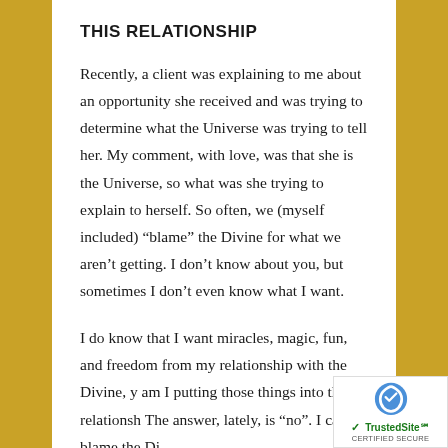THIS RELATIONSHIP
Recently, a client was explaining to me about an opportunity she received and was trying to determine what the Universe was trying to tell her. My comment, with love, was that she is the Universe, so what was she trying to explain to herself. So often, we (myself included) “blame” the Divine for what we aren’t getting. I don’t know about you, but sometimes I don’t even know what I want.
I do know that I want miracles, magic, fun, and freedom from my relationship with the Divine, y am I putting those things into that relationsh The answer, lately, is “no”. I can’t blame the Di